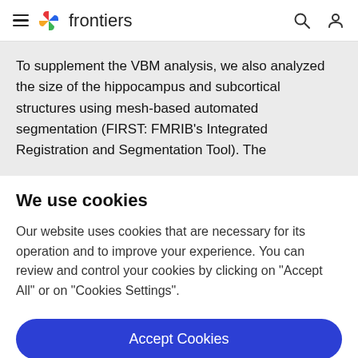frontiers
To supplement the VBM analysis, we also analyzed the size of the hippocampus and subcortical structures using mesh-based automated segmentation (FIRST: FMRIB's Integrated Registration and Segmentation Tool). The
We use cookies
Our website uses cookies that are necessary for its operation and to improve your experience. You can review and control your cookies by clicking on "Accept All" or on "Cookies Settings".
Accept Cookies
Cookies Settings